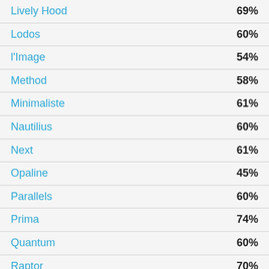| Name | Percentage |
| --- | --- |
| Lively Hood | 69% |
| Lodos | 60% |
| l'Image | 54% |
| Method | 58% |
| Minimaliste | 61% |
| Nautilius | 60% |
| Next | 61% |
| Opaline | 45% |
| Parallels | 60% |
| Prima | 74% |
| Quantum | 60% |
| Raptor | 70% |
| Repoussé | 95% |
| Represent | 66% |